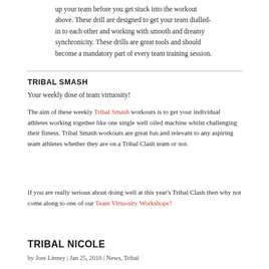up your team before you get stuck into the workout above. These drill are designed to get your team dialled-in to each other and working with smooth and dreamy synchronicity. These drills are great tools and should become a mandatory part of every team training session.
TRIBAL SMASH
Your weekly dose of team virtuosity!
The aim of these weekly Tribal Smash workouts is to get your individual athletes working together like one single well oiled machine whilst challenging their fitness. Tribal Smash workouts are great fun and relevant to any aspiring team athletes whether they are on a Tribal Clash team or not.
If you are really serious about doing well at this year's Tribal Clash then why not come along to one of our Team Virtuosity Workshops?
TRIBAL NICOLE
by Joss Linney | Jan 25, 2016 | News, Tribal